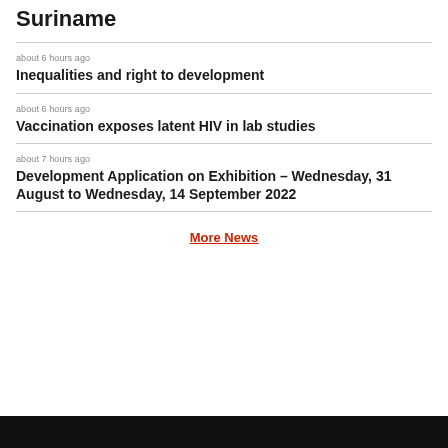Suriname
about 6 hours ago
Inequalities and right to development
about 6 hours ago
Vaccination exposes latent HIV in lab studies
about 7 hours ago
Development Application on Exhibition – Wednesday, 31 August to Wednesday, 14 September 2022
More News